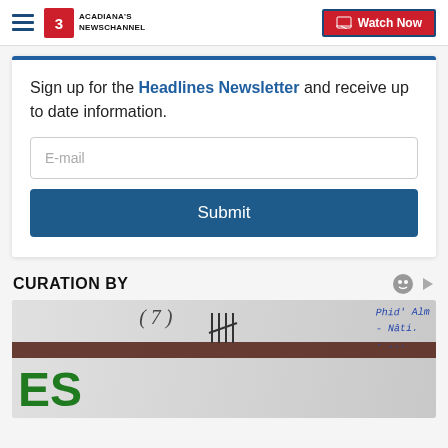Acadiana's Newschannel | Watch Now
Sign up for the Headlines Newsletter and receive up to date information.
E-mail
Submit
CURATION BY
[Figure (photo): Partial photo showing handwritten notes, tally marks, and green letters (PES or similar) at the bottom left, on what appears to be a license plate or sign background.]